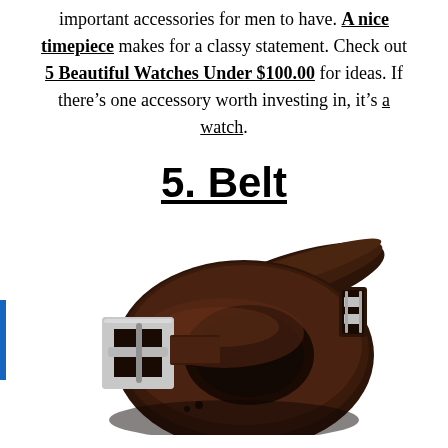important accessories for men to have. A nice timepiece makes for a classy statement. Check out 5 Beautiful Watches Under $100.00 for ideas. If there's one accessory worth investing in, it's a watch.
5. Belt
[Figure (photo): A dark brown leather belt coiled up, showing a silver rectangular buckle and keeper loop, photographed on a white background.]